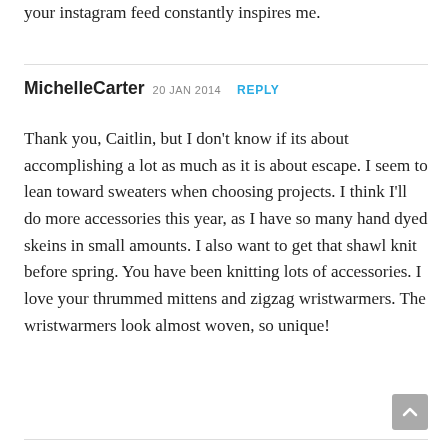your instagram feed constantly inspires me.
MichelleCarter 20 JAN 2014 REPLY
Thank you, Caitlin, but I don't know if its about accomplishing a lot as much as it is about escape. I seem to lean toward sweaters when choosing projects. I think I'll do more accessories this year, as I have so many hand dyed skeins in small amounts. I also want to get that shawl knit before spring.
You have been knitting lots of accessories. I love your thrummed mittens and zigzag wristwarmers. The wristwarmers look almost woven, so unique!